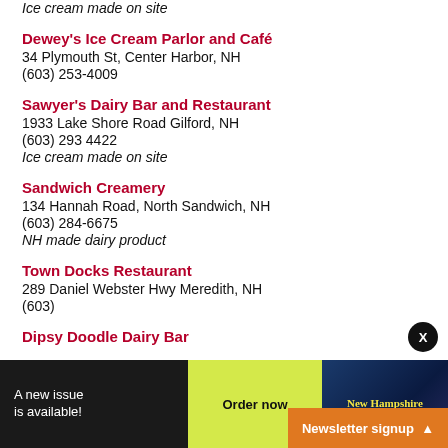Ice cream made on site
Dewey's Ice Cream Parlor and Café
34 Plymouth St, Center Harbor, NH
(603) 253-4009
Sawyer's Dairy Bar and Restaurant
1933 Lake Shore Road Gilford, NH
(603) 293 4422
Ice cream made on site
Sandwich Creamery
134 Hannah Road, North Sandwich, NH
(603) 284-6675
NH made dairy product
Town Docks Restaurant
289 Daniel Webster Hwy Meredith, NH
(603)
Dipsy Doodle Dairy Bar